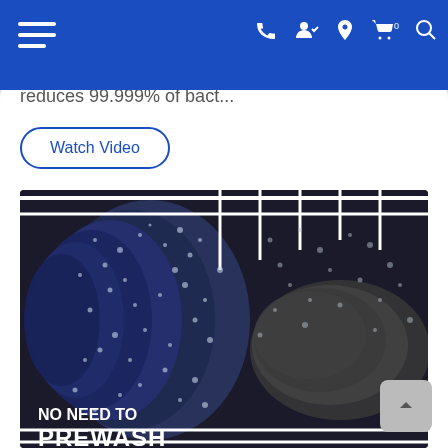Navigation header with hamburger menu and icons: phone, account, location, cart (0), search
reduces 99.999% of bact...
Watch Video
[Figure (photo): Close-up photo of dishes being washed in a dishwasher rack with water spray and droplets. Overlay text reads: NO NEED TO PREWASH]
NO NEED TO PREWASH